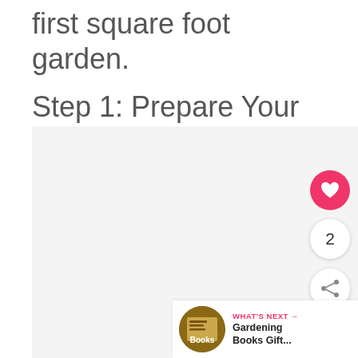Step 1: Prepare Your Growing Space
[Figure (photo): Large light gray image placeholder area for the square foot garden preparation step]
[Figure (infographic): UI widget: pink heart/like button, count bubble showing 2, share button]
WHAT'S NEXT → Gardening Books Gift...